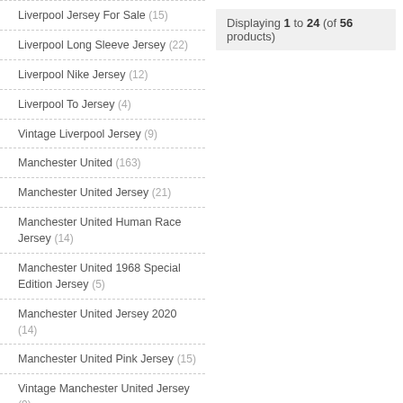Liverpool Jersey For Sale (15)
Liverpool Long Sleeve Jersey (22)
Liverpool Nike Jersey (12)
Liverpool To Jersey (4)
Vintage Liverpool Jersey (9)
Manchester United (163)
Manchester United Jersey (21)
Manchester United Human Race Jersey (14)
Manchester United 1968 Special Edition Jersey (5)
Manchester United Jersey 2020 (14)
Manchester United Pink Jersey (15)
Vintage Manchester United Jersey (9)
Manchester United Cny Jersey (8)
Manchester United Long Sleeve Jersey (12)
Displaying 1 to 24 (of 56 products)